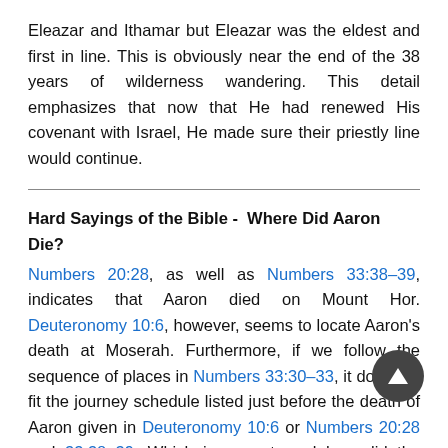Eleazar and Ithamar but Eleazar was the eldest and first in line. This is obviously near the end of the 38 years of wilderness wandering. This detail emphasizes that now that He had renewed His covenant with Israel, He made sure their priestly line would continue.
Hard Sayings of the Bible -  Where Did Aaron Die?
Numbers 20:28, as well as Numbers 33:38-39, indicates that Aaron died on Mount Hor. Deuteronomy 10:6, however, seems to locate Aaron's death at Moserah. Furthermore, if we follow the sequence of places in Numbers 33:30-33, it does not fit the journey schedule listed just before the death of Aaron given in Deuteronomy 10:6 or Numbers 20:28 and 33:38-39. Which is correct, and how did the error, if that is what it is, creep into the text?
The sequence of the camping sites on the wilderness journey in Numbers 33:30-33 is different from the sequence of